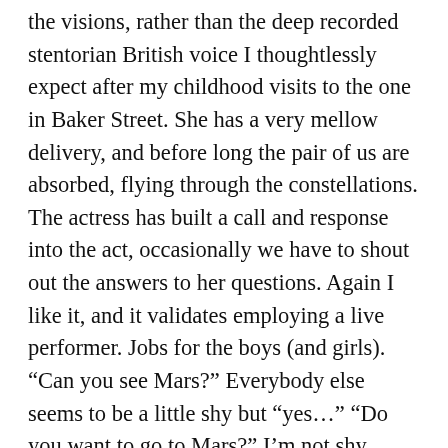the visions, rather than the deep recorded stentorian British voice I thoughtlessly expect after my childhood visits to the one in Baker Street. She has a very mellow delivery, and before long the pair of us are absorbed, flying through the constellations. The actress has built a call and response into the act, occasionally we have to shout out the answers to her questions. Again I like it, and it validates employing a live performer. Jobs for the boys (and girls). “Can you see Mars?” Everybody else seems to be a little shy but “yes…” “Do you want to go to Mars?” I’m not shy about this “YES”. I mean I’d sooner go check out one of those three planets they found this week that might support life. But for now it’ll have to be that dusty rock. And off we go.